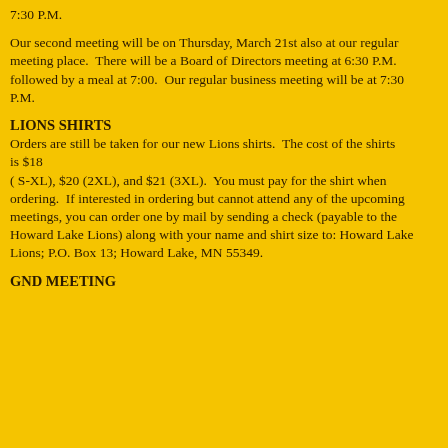7:30 P.M.
Our second meeting will be on Thursday, March 21st also at our regular meeting place.  There will be a Board of Directors meeting at 6:30 P.M. followed by a meal at 7:00.  Our regular business meeting will be at 7:30 P.M.
LIONS SHIRTS
Orders are still be taken for our new Lions shirts.  The cost of the shirts is $18 ( S-XL), $20 (2XL), and $21 (3XL).  You must pay for the shirt when ordering.  If interested in ordering but cannot attend any of the upcoming meetings, you can order one by mail by sending a check (payable to the Howard Lake Lions) along with your name and shirt size to: Howard Lake Lions; P.O. Box 13; Howard Lake, MN 55349.
GND MEETING